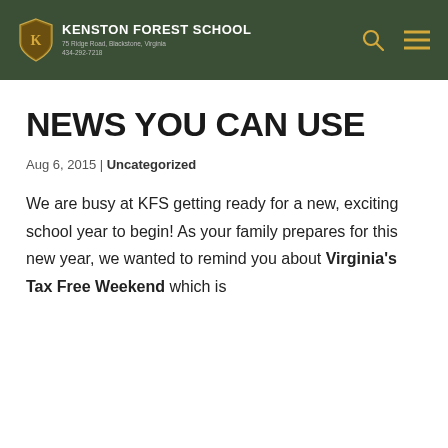Kenston Forest School | 75 Idge Road, Blackstone, Virginia | 434-292-7218
NEWS YOU CAN USE
Aug 6, 2015 | Uncategorized
We are busy at KFS getting ready for a new, exciting school year to begin! As your family prepares for this new year, we wanted to remind you about Virginia's Tax Free Weekend which is